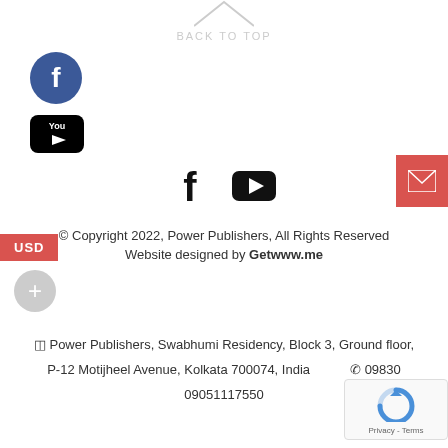[Figure (illustration): Back to top arrow (chevron up) with text BACK TO TOP below in light gray]
[Figure (logo): Facebook circular icon (blue circle with white f)]
[Figure (logo): YouTube icon (black YouTube logo with play button)]
[Figure (illustration): Facebook f icon and YouTube play button icon side by side (social media links)]
[Figure (illustration): Red email envelope button on right edge]
[Figure (illustration): USD red badge label on left edge]
[Figure (illustration): Gray plus circle button on left]
© Copyright 2022, Power Publishers, All Rights Reserved
Website designed by Getwww.me
🏢 Power Publishers, Swabhumi Residency, Block 3, Ground floor, P-12 Motijheel Avenue, Kolkata 700074, India
📞 09830 09051117550
[Figure (illustration): reCAPTCHA widget with logo and Privacy - Terms text]